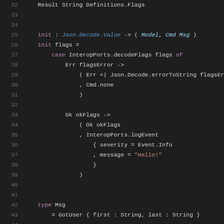[Figure (screenshot): Code editor screenshot showing Elm programming language source code, lines 22-46, dark theme with syntax highlighting. Lines show Result type, init function, case expression with InteropPorts.decodeFlags, Err and Ok branches, type Msg definition, and subscriptions function signature.]